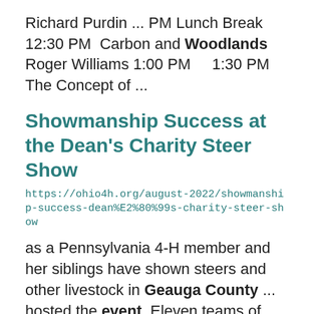Richard Purdin ... PM Lunch Break  12:30 PM  Carbon and Woodlands Roger Williams 1:00 PM     1:30 PM The Concept of ...
Showmanship Success at the Dean's Charity Steer Show
https://ohio4h.org/august-2022/showmanship-success-dean%E2%80%99s-charity-steer-show
as a Pennsylvania 4-H member and her siblings have shown steers and other livestock in Geauga County ... hosted the event. Eleven teams of celebrity exhibitors, media personalities, and 4-H youth experts raised ... director of